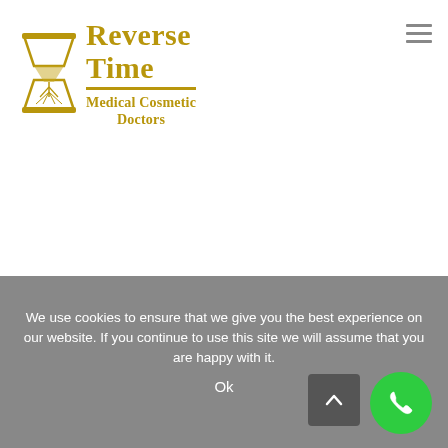[Figure (logo): Reverse Time Medical Cosmetic Doctors logo with hourglass icon in gold/tan color]
shoes twice in a row – they need time to dry out fully. When you exercise, wear fabrics that wick moisture away from the skin, and moisture-wicking athletic socks are helpful for some.
Identify any trigger factors for sweating, such as crowded rooms, rushing about, alcohol, spicy foods and hot or caffeinated drinks etc, and avoid these triggers.
We use cookies to ensure that we give you the best experience on our website. If you continue to use this site we will assume that you are happy with it.
Ok